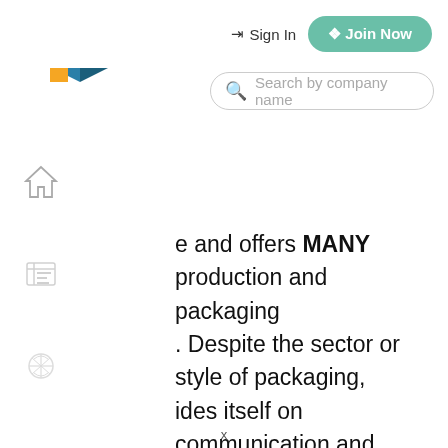[Figure (logo): ZoRoCo logo: geometric 3D box shape with teal/blue and orange/yellow colors]
Sign In  Join Now
[Figure (screenshot): Search bar with placeholder text 'Search by company name']
e and offers MANY production and packaging . Despite the sector or style of packaging, ides itself on communication and developing r its wide ranging family of clients. At ZoRoCo d owners run operations and are in the daily ipany-wide ZoRoCo takes a hands on We dont have titles on our cards because from  new hire, we all jump in to help with a unified ission for serving our client's needs. We offer 100% transparency via an Online Portal. We the value of partnerships and relationships
x